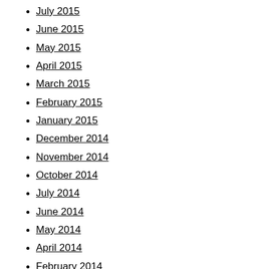July 2015
June 2015
May 2015
April 2015
March 2015
February 2015
January 2015
December 2014
November 2014
October 2014
July 2014
June 2014
May 2014
April 2014
February 2014
January 2014